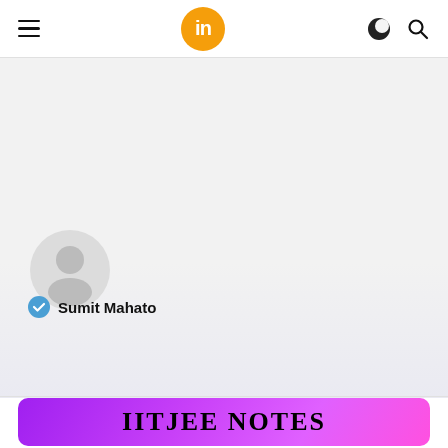in — navigation bar with hamburger menu, logo, dark mode icon, search icon
[Figure (photo): Website screenshot showing a profile banner with a gray avatar silhouette and author name 'Sumit Mahato' with a blue verified checkmark, followed by a purple gradient article card with the text 'IITJEE NOTES']
IITJEE NOTES